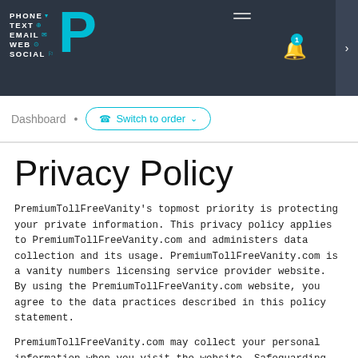PHONE TEXT EMAIL WEB SOCIAL — PremiumTollFreeVanity header navigation
Dashboard · Switch to order
Privacy Policy
PremiumTollFreeVanity's topmost priority is protecting your private information. This privacy policy applies to PremiumTollFreeVanity.com and administers data collection and its usage. PremiumTollFreeVanity.com is a vanity numbers licensing service provider website. By using the PremiumTollFreeVanity.com website, you agree to the data practices described in this policy statement.
PremiumTollFreeVanity.com may collect your personal information when you visit the website. Safeguarding